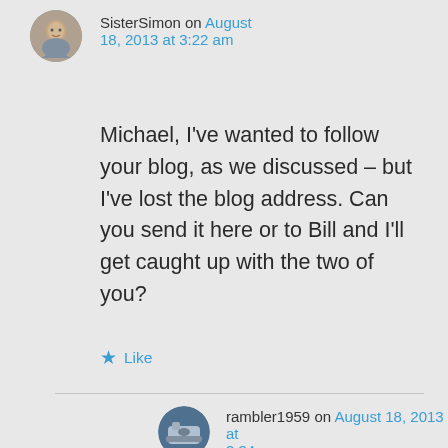SisterSimon on August 18, 2013 at 3:22 am
Michael, I've wanted to follow your blog, as we discussed – but I've lost the blog address. Can you send it here or to Bill and I'll get caught up with the two of you?
★ Like
rambler1959 on August 18, 2013 at 3:34 am